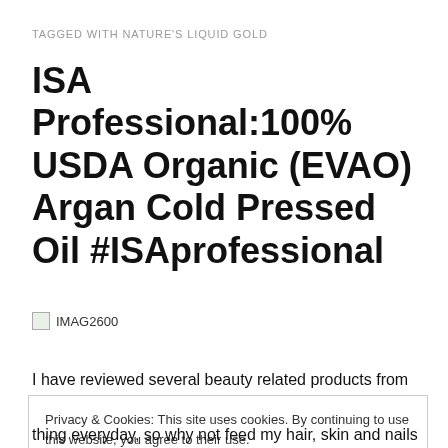TAGGED WITH NATURE'S LIQUID GOLD
ISA Professional:100% USDA Organic (EVAO) Argan Cold Pressed Oil #ISAprofessional
[Figure (photo): Image placeholder labeled IMAG2600]
I have reviewed several beauty related products from hair
Privacy & Cookies: This site uses cookies. By continuing to use this website, you agree to their use.
To find out more, including how to control cookies, see here: Cookie Policy
thing everyday, so why not feed my hair, skin and nails a